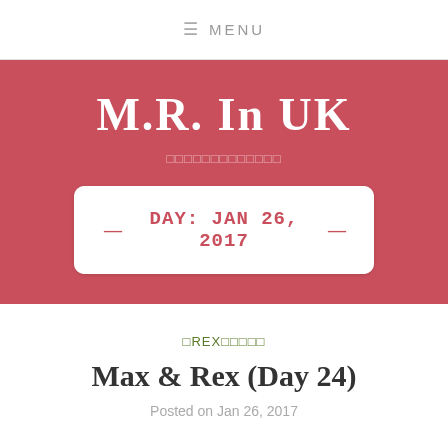MENU
M.R. In UK
□□□□□□□□□□□□□
DAY: JAN 26, 2017
□REX□□□□□
Max & Rex (Day 24)
Posted on Jan 26, 2017